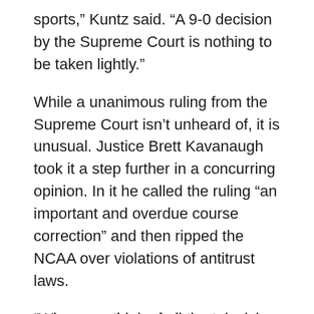sports,” Kuntz said. “A 9-0 decision by the Supreme Court is nothing to be taken lightly.”
While a unanimous ruling from the Supreme Court isn’t unheard of, it is unusual. Justice Brett Kavanaugh took it a step further in a concurring opinion. In it he called the ruling “an important and overdue course correction” and then ripped the NCAA over violations of antitrust laws.
“When you think of all the television revenue that goes to the NCAA. Especially major college sports like football and especially basketball and March Madness, which the NCAA is over, there’s no excuse for these student athletes to not get that payment,” Kuntz said.
“I don’t think we’re going to see monumental changes, but I think the ground work is then laid for, we’re sort of at the